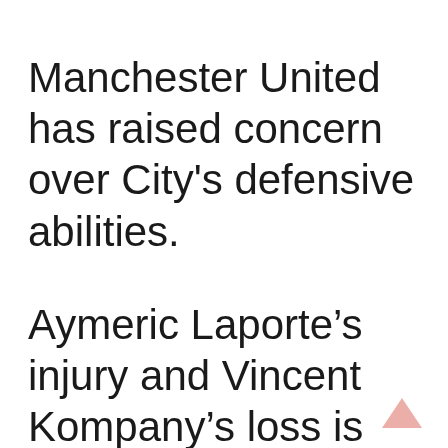Manchester United has raised concern over City's defensive abilities.
Aymeric Laporte's injury and Vincent Kompany's loss is clearly visible on the team. Otamendi's poor form has not